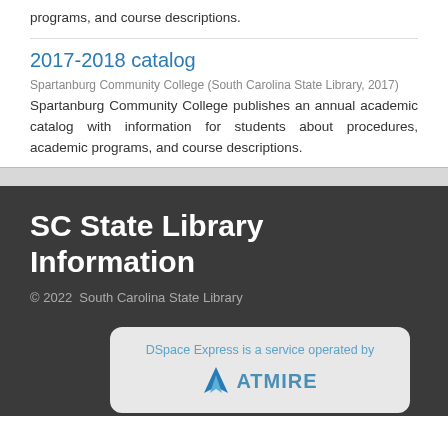programs, and course descriptions.
2017-2018 catalog
Spartanburg Community College (South Carolina State Library, 2017)
Spartanburg Community College publishes an annual academic catalog with information for students about procedures, academic programs, and course descriptions.
SC State Library Information
© 2022  South Carolina State Library
DSpace Express is a service operated by ATMIRE